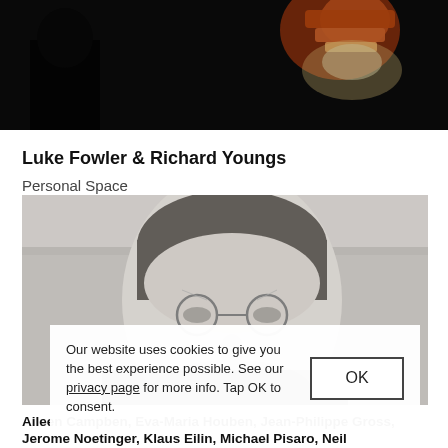[Figure (photo): Dark photograph showing a person under warm orange/red lamp lighting, mostly dark background.]
Luke Fowler & Richard Youngs
Personal Space
INSTAL 08
[Figure (photo): Black and white close-up portrait of a middle-aged man wearing round glasses, looking directly at camera.]
Our website uses cookies to give you the best experience possible. See our privacy page for more info. Tap OK to consent.
Aileen Campben, Eva-Maria Houben, Jean-Philippe Gross, Jerome Noetinger, Klaus Eilin, Michael Pisaro, Neil